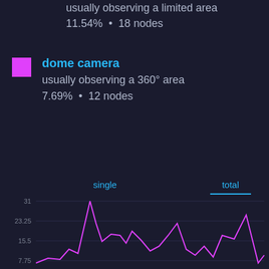usually observing a limited area
11.54% • 18 nodes
dome camera
usually observing a 360° area
7.69% • 12 nodes
single   total
[Figure (line-chart): Line chart on dark background showing a magenta/purple line with multiple peaks. Y-axis labels: 31, 23.25, 15.5, 7.75. The line shows several sharp peaks, the highest near the center reaching approximately 31.]